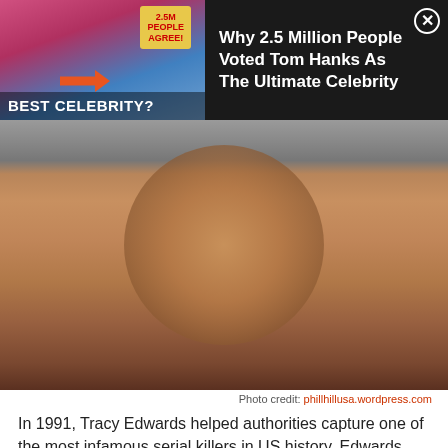[Figure (screenshot): Advertisement banner showing two people (a woman and Tom Hanks) with text '2.5M PEOPLE AGREE!' and 'BEST CELEBRITY?' overlaid. Ad headline reads 'Why 2.5 Million People Voted Tom Hanks As The Ultimate Celebrity' with a close button.]
[Figure (photo): Mugshot-style photo of a Black man with curly/dreadlocked hair and a mustache against a gray background.]
Photo credit: phillhillusa.wordpress.com
In 1991, Tracy Edwards helped authorities capture one of the most infamous serial killers in US history. Edwards was walking the streets of Milwaukee half-naked and handcuffed after managing to escape the house of Jeffrey